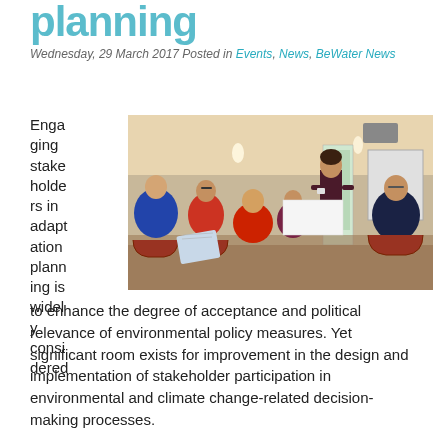planning
Wednesday, 29 March 2017 Posted in Events, News, BeWater News
[Figure (photo): Group of people in a conference room setting, several seated in a circle, one woman standing and presenting. A projector screen and roll-up banner are visible in the background. The room has warm lighting and red chairs.]
Engaging stakeholders in adaptation planning is widely considered to enhance the degree of acceptance and political relevance of environmental policy measures. Yet significant room exists for improvement in the design and implementation of stakeholder participation in environmental and climate change-related decision-making processes.